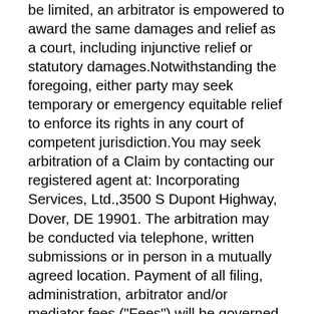be limited, an arbitrator is empowered to award the same damages and relief as a court, including injunctive relief or statutory damages.Notwithstanding the foregoing, either party may seek temporary or emergency equitable relief to enforce its rights in any court of competent jurisdiction.You may seek arbitration of a Claim by contacting our registered agent at: Incorporating Services, Ltd.,3500 S Dupont Highway, Dover, DE 19901. The arbitration may be conducted via telephone, written submissions or in person in a mutually agreed location. Payment of all filing, administration, arbitrator and/or mediator fees ("Fees") will be governed by AAA's rules. The AAA's rules are available at: www.adr.org or call 800-778-7879 (toll-free) for instructions on how to obtain a copy. Unless the AAA arbitrator determines that your Claim was frivolous, we will (i) reimburse you for the Fees paid by you,